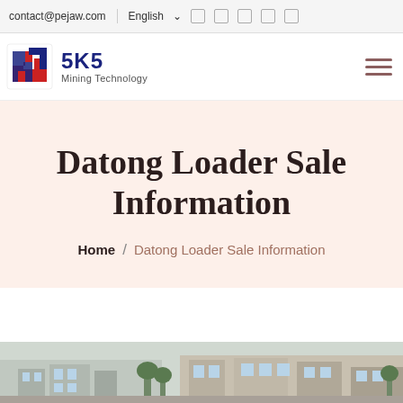contact@pejaw.com  English  [icons]
[Figure (logo): SKS Mining Technology logo with stylized S icon in red and blue]
Datong Loader Sale Information
Home / Datong Loader Sale Information
[Figure (photo): Bottom strip showing a building facade / factory exterior]